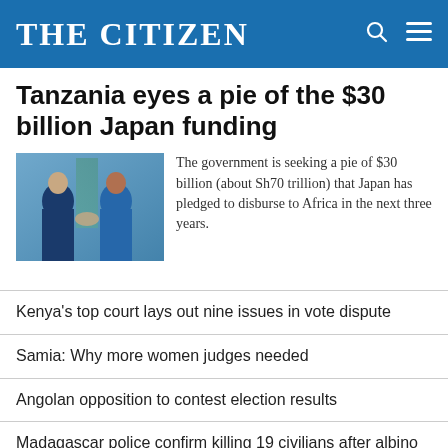THE CITIZEN
Tanzania eyes a pie of the $30 billion Japan funding
[Figure (photo): Two men in suits shaking hands, with a green flag in the background]
The government is seeking a pie of $30 billion (about Sh70 trillion) that Japan has pledged to disburse to Africa in the next three years.
Kenya's top court lays out nine issues in vote dispute
Samia: Why more women judges needed
Angolan opposition to contest election results
Madagascar police confirm killing 19 civilians after albino kidnap
Tourists surge: Is Tanzania prepared?